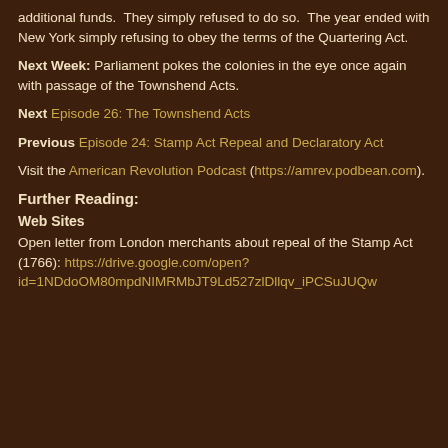additional funds.  They simply refused to do so.  The year ended with New York simply refusing to obey the terms of the Quartering Act.
Next Week: Parliament pokes the colonies in the eye once again with passage of the Townshend Acts.
Next Episode 26: The Townshend Acts
Previous Episode 24: Stamp Act Repeal and Declaratory Act
Visit the American Revolution Podcast (https://amrev.podbean.com).
Further Reading:
Web Sites
Open letter from London merchants about repeal of the Stamp Act (1766): https://drive.google.com/open?id=1NDdoOM80mpdNIMRMbJT9Ld527zlDllqv_iPCSuJUQw